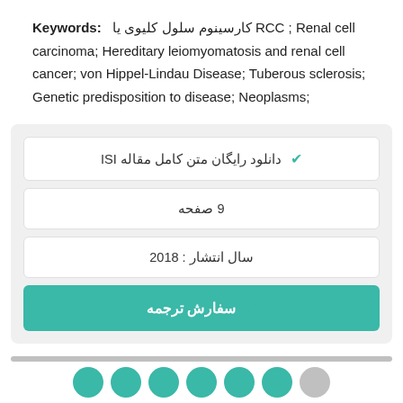Keywords: کارسینوم سلول کلیوی یا RCC ; Renal cell carcinoma; Hereditary leiomyomatosis and renal cell cancer; von Hippel-Lindau Disease; Tuberous sclerosis; Genetic predisposition to disease; Neoplasms;
✔ دانلود رایگان متن کامل مقاله ISI
9 صفحه
سال انتشار : 2018
✔ سفارش ترجمه